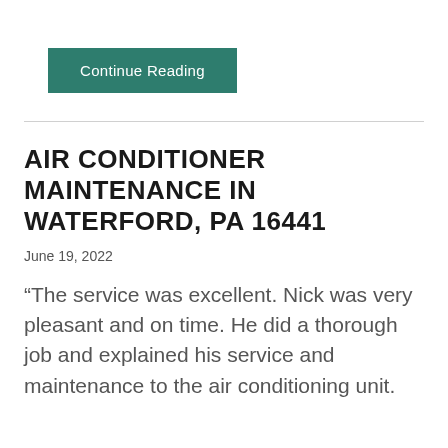[Figure (other): A teal/green button labeled 'Continue Reading']
AIR CONDITIONER MAINTENANCE IN WATERFORD, PA 16441
June 19, 2022
“The service was excellent. Nick was very pleasant and on time. He did a thorough job and explained his service and maintenance to the air conditioning unit.